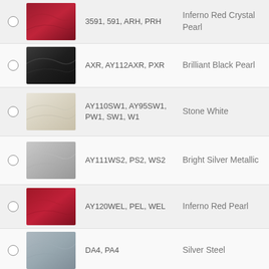3591, 591, ARH, PRH — Inferno Red Crystal Pearl
AXR, AY112AXR, PXR — Brilliant Black Pearl
AY110SW1, AY95SW1, PW1, SW1, W1 — Stone White
AY111WS2, PS2, WS2 — Bright Silver Metallic
AY120WEL, PEL, WEL — Inferno Red Pearl
DA4, PA4 — Silver Steel